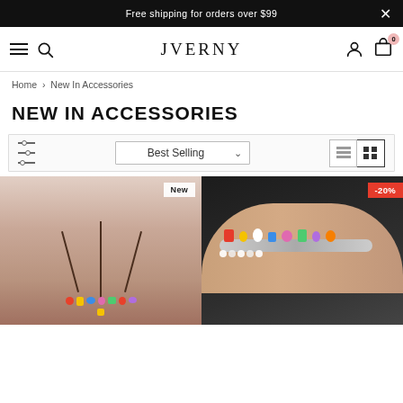Free shipping for orders over $99
[Figure (screenshot): Navigation bar with hamburger menu, search icon, JVERNY logo, user icon, and cart icon with badge 0]
Home > New In Accessories
NEW IN ACCESSORIES
[Figure (screenshot): Filter and sort bar with filter sliders icon, Best Selling dropdown, list view icon, and grid view icon]
[Figure (photo): Product photo of colorful beaded necklace worn by a woman with New badge]
[Figure (photo): Product photo of colorful charm bracelet worn by a person with -20% sale badge]